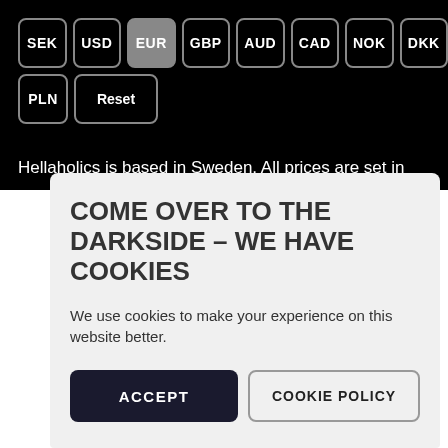SEK | USD | EUR | GBP | AUD | CAD | NOK | DKK | PLN | Reset
Hellaholics is based in Sweden, All prices are set in
COME OVER TO THE DARKSIDE – WE HAVE COOKIES
We use cookies to make your experience on this website better.
ACCEPT | COOKIE POLICY